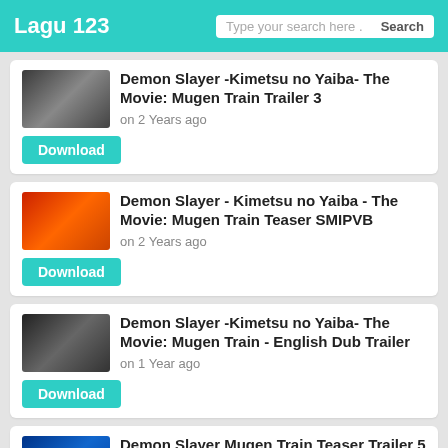Lagu 123
Demon Slayer -Kimetsu no Yaiba- The Movie: Mugen Train Trailer 3
on 2 Years ago
Download
Demon Slayer - Kimetsu no Yaiba - The Movie: Mugen Train Teaser SMIPVB
on 2 Years ago
Download
Demon Slayer -Kimetsu no Yaiba- The Movie: Mugen Train - English Dub Trailer
on 1 Year ago
Download
Demon Slayer Mugen Train Teaser Trailer 5 days
on 1 Year ago